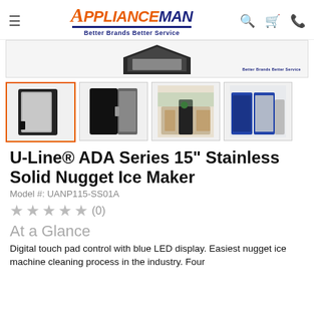ApplianceMan — Better Brands Better Service
[Figure (photo): Main product image strip showing top of a stainless steel ice maker appliance with ApplianceMan watermark]
[Figure (photo): Thumbnail 1 (active/selected): Stainless steel U-Line ice maker, front view, silver door]
[Figure (photo): Thumbnail 2: U-Line ice maker with door open showing interior]
[Figure (photo): Thumbnail 3: Ice maker installed in a modern kitchen setting]
[Figure (photo): Thumbnail 4: Ice maker installed with blue cabinetry]
U-Line® ADA Series 15" Stainless Solid Nugget Ice Maker
Model #: UANP115-SS01A
★★★★★ (0)
At a Glance
Digital touch pad control with blue LED display. Easiest nugget ice machine cleaning process in the industry. Four